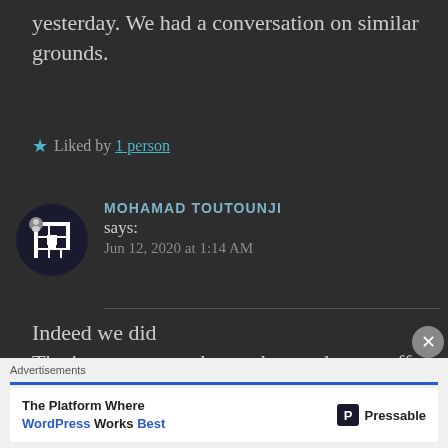yesterday. We had a conversation on similar grounds.
★ Liked by 1 person
MOHAMAD TOUTOUNJI says: Jun 12, 2020 at 1:14 AM
Indeed we did
That's awesome to know that we have stuff in common
[Figure (logo): Advertisement banner: The Platform Where WordPress Works Best — Pressable]
Advertisements
The Platform Where WordPress Works Best   Pressable